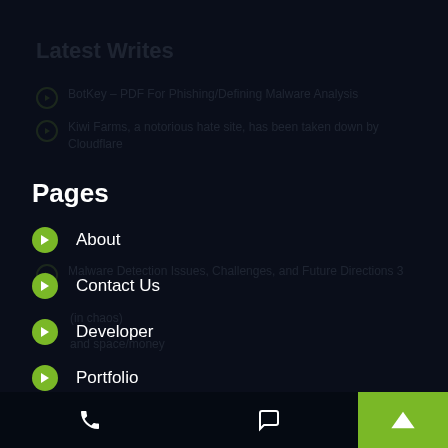Latest Writes
BotKey – PDF For Phishing/Defining Malware Analysis
Kiwi Farms, a notorious hate site, has been taken down by Cloudflare
Pages
Malware Detection Issues, Challenges, and Future Directions 3
About
Contact Us
Developer
Portfolio
Research